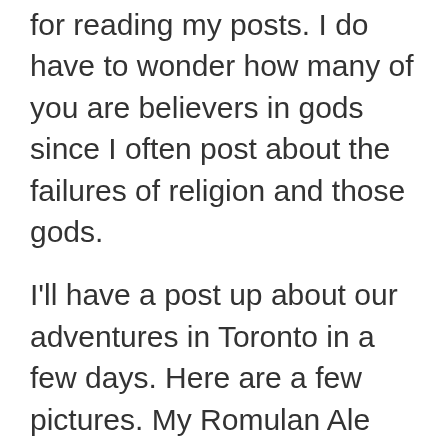for reading my posts. I do have to wonder how many of you are believers in gods since I often post about the failures of religion and those gods.
I'll have a post up about our adventures in Toronto in a few days. Here are a few pictures. My Romulan Ale from Storm Crow Manor and the CN Tower.